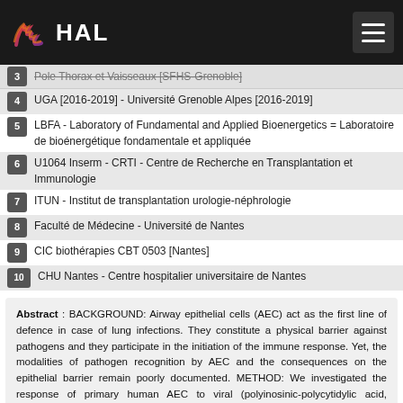HAL
3 - Pole Thorax et Vaisseaux [SFHS-Grenoble]
4 - UGA [2016-2019] - Université Grenoble Alpes [2016-2019]
5 - LBFA - Laboratory of Fundamental and Applied Bioenergetics = Laboratoire de bioénergétique fondamentale et appliquée
6 - U1064 Inserm - CRTI - Centre de Recherche en Transplantation et Immunologie
7 - ITUN - Institut de transplantation urologie-néphrologie
8 - Faculté de Médecine - Université de Nantes
9 - CIC biothérapies CBT 0503 [Nantes]
10 - CHU Nantes - Centre hospitalier universitaire de Nantes
Abstract : BACKGROUND: Airway epithelial cells (AEC) act as the first line of defence in case of lung infections. They constitute a physical barrier against pathogens and they participate in the initiation of the immune response. Yet, the modalities of pathogen recognition by AEC and the consequences on the epithelial barrier remain poorly documented. METHOD: We investigated the response of primary human AEC to viral (polyinosinic-polycytidylic acid, poly(I:C)) and bacterial (lipopolysaccharide, LPS) stimulations in combination with the lung remodeling factor Transforming Growth Factor-beta (TGF-beta). RESULTS: We showed a strong production of pro-inflammatory cytokines (Interleukin (IL)-6, Tumor Necrosis Factor alpha, TNFalpha) or chemokines (CCL2, CCL3, CCL4, CXCL10, CXCL11) by AEC stimulated with poly(I:C). Cytokine and